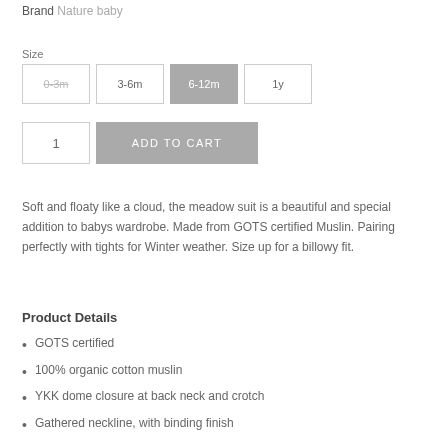Brand Nature baby
Size
0-3m  3-6m  6-12m  1y
1  ADD TO CART
Soft and floaty like a cloud, the meadow suit is a beautiful and special addition to babys wardrobe. Made from GOTS certified Muslin. Pairing perfectly with tights for Winter weather. Size up for a billowy fit.
Product Details
GOTS certified
100% organic cotton muslin
YKK dome closure at back neck and crotch
Gathered neckline, with binding finish